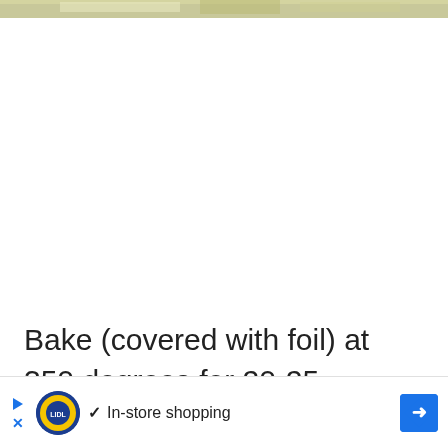[Figure (photo): Partial view of a food photo at the top of the page, showing a dish with light-colored creamy or cheesy topping, cropped to a thin strip]
Bake (covered with foil) at 350 degrees for 20-25 minutes, until chicken is cooked thro
[Figure (other): Advertisement bar: Lidl logo with play/close buttons on left, checkmark with 'In-store shopping' text in center, blue diamond navigation icon on right]